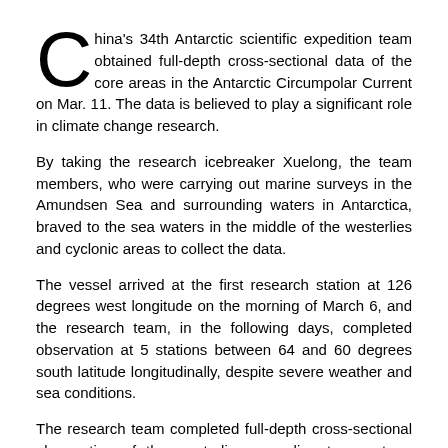China's 34th Antarctic scientific expedition team obtained full-depth cross-sectional data of the core areas in the Antarctic Circumpolar Current on Mar. 11. The data is believed to play a significant role in climate change research.
By taking the research icebreaker Xuelong, the team members, who were carrying out marine surveys in the Amundsen Sea and surrounding waters in Antarctica, braved to the sea waters in the middle of the westerlies and cyclonic areas to collect the data.
The vessel arrived at the first research station at 126 degrees west longitude on the morning of March 6, and the research team, in the following days, completed observation at 5 stations between 64 and 60 degrees south latitude longitudinally, despite severe weather and sea conditions.
The research team completed full-depth cross-sectional observation of the westerlies regarding temperature, salinity of sea waters and ocean currents, and carried out a series of